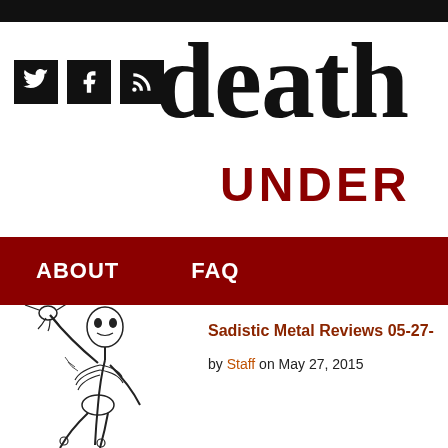death metal underground
[Figure (logo): Social media icons: Twitter bird, Facebook f, RSS feed symbol — white on black square backgrounds]
ABOUT   FAQ
[Figure (illustration): Black and white sketch of a skeleton playing a stringed instrument, cropped at left side of page]
Sadistic Metal Reviews 05-27-
by Staff on May 27, 2015